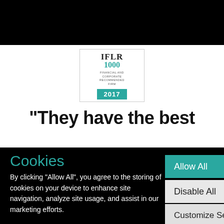[Figure (logo): IFLR1000 Financial and Corporate Recommended Firm 2017 award badge]
“They have the best
Cookies
By clicking “Allow All”, you agree to the storing of cookies on your device to enhance site navigation, analyze site usage, and assist in our marketing efforts.
Allow All
Disable All
Customize Settings